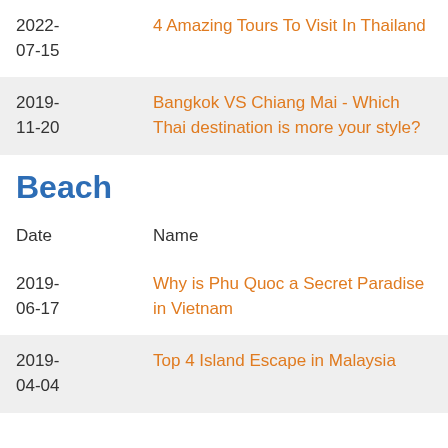| Date | Name |
| --- | --- |
| 2022-
07-15 | 4 Amazing Tours To Visit In Thailand |
| 2019-
11-20 | Bangkok VS Chiang Mai - Which Thai destination is more your style? |
Beach
| Date | Name |
| --- | --- |
| 2019-
06-17 | Why is Phu Quoc a Secret Paradise in Vietnam |
| 2019-
04-04 | Top 4 Island Escape in Malaysia |